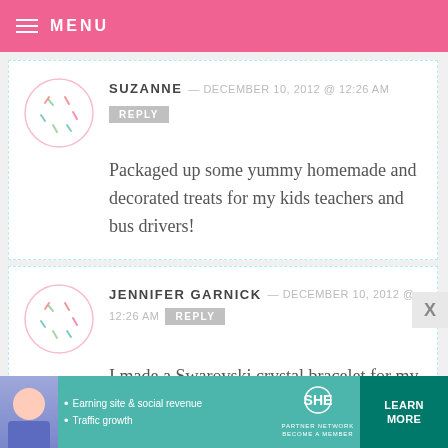MENU
SUZANNE — DECEMBER 10, 2012 @ 12:26 AM
REPLY
Packaged up some yummy homemade and decorated treats for my kids teachers and bus drivers!
JENNIFER GARNICK — DECEMBER 10, 2012 @ 12:26 AM
REPLY
I made a Swarovski crystal bracelet for my niece in her soccer team's colors
[Figure (infographic): SHE Partner Network advertisement banner with photo of woman, bullet points about earning site & social revenue and traffic growth, SHE logo, and LEARN MORE button]